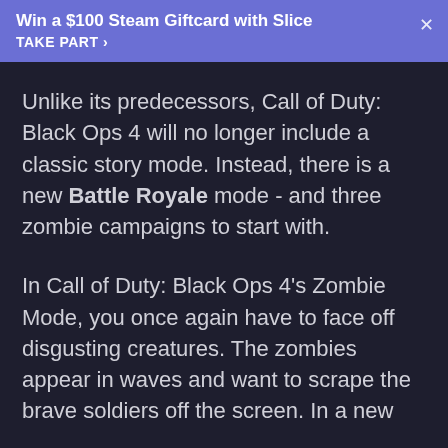Win a $100 Steam Giftcard with Slice
TAKE PART >
Unlike its predecessors, Call of Duty: Black Ops 4 will no longer include a classic story mode. Instead, there is a new Battle Royale mode - and three zombie campaigns to start with.
In Call of Duty: Black Ops 4's Zombie Mode, you once again have to face off disgusting creatures. The zombies appear in waves and want to scrape the brave soldiers off the screen. In a new